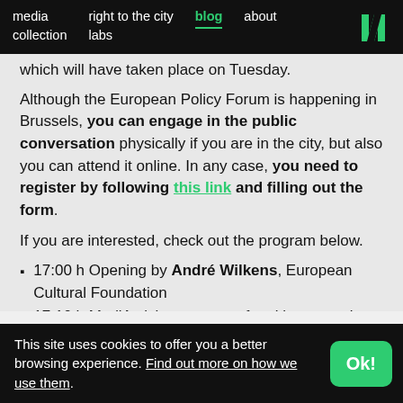media collection | right to the city | labs | blog | about
which will have taken place on Tuesday.
Although the European Policy Forum is happening in Brussels, you can engage in the public conversation physically if you are in the city, but also you can attend it online. In any case, you need to register by following this link and filling out the form.
If you are interested, check out the program below.
17:00 h Opening by André Wilkens, European Cultural Foundation
17:10 h MediActivism – a case for citizen-centric
This site uses cookies to offer you a better browsing experience. Find out more on how we use them.